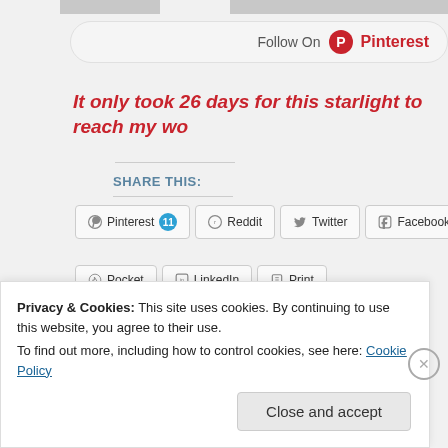[Figure (screenshot): Pinterest Follow On button bar at top of page]
It only took 26 days for this starlight to reach my wo...
SHARE THIS:
Pinterest 11 | Reddit | Twitter | Facebook | (Email) | Pocket | LinkedIn | Print
Loading...
Privacy & Cookies: This site uses cookies. By continuing to use this website, you agree to their use. To find out more, including how to control cookies, see here: Cookie Policy
Close and accept